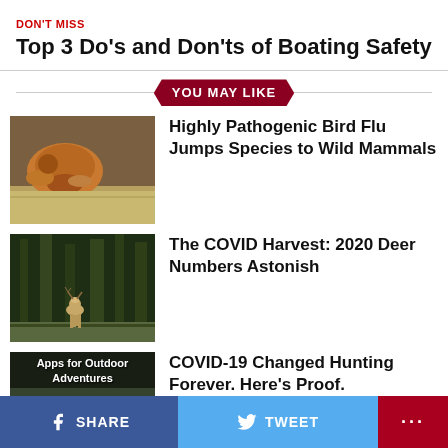DON'T MISS
Top 3 Do's and Don'ts of Boating Safety
YOU MAY LIKE
[Figure (photo): A fox or reddish-brown animal lying in grass, side view]
Highly Pathogenic Bird Flu Jumps Species to Wild Mammals
[Figure (photo): A deer standing in a wooded area with trees in background]
The COVID Harvest: 2020 Deer Numbers Astonish
[Figure (photo): Apps for Outdoor Adventures - screenshot showing a hunter app]
COVID-19 Changed Hunting Forever. Here's Proof.